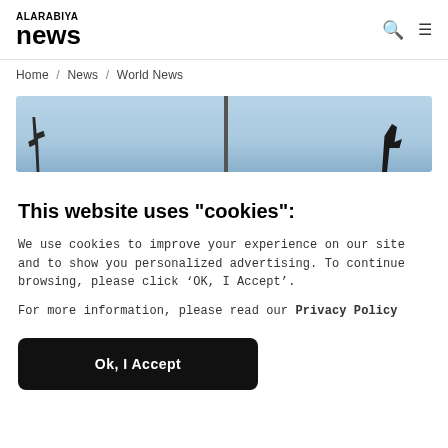ALARABIYA news
Home / News / World News
[Figure (photo): Partial view of a person holding something against a light blue sky with a pole in the middle]
This website uses "cookies":
We use cookies to improve your experience on our site and to show you personalized advertising. To continue browsing, please click ‘OK, I Accept’.
For more information, please read our Privacy Policy
Ok, I Accept